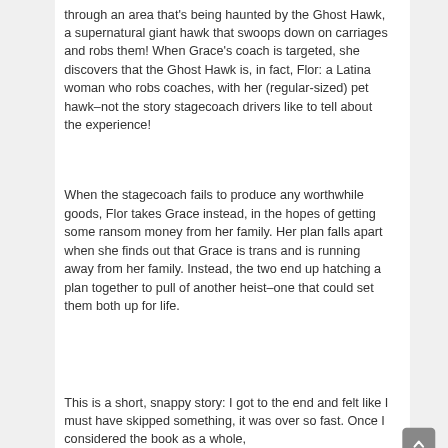through an area that's being haunted by the Ghost Hawk, a supernatural giant hawk that swoops down on carriages and robs them! When Grace's coach is targeted, she discovers that the Ghost Hawk is, in fact, Flor: a Latina woman who robs coaches, with her (regular-sized) pet hawk–not the story stagecoach drivers like to tell about the experience!
When the stagecoach fails to produce any worthwhile goods, Flor takes Grace instead, in the hopes of getting some ransom money from her family. Her plan falls apart when she finds out that Grace is trans and is running away from her family. Instead, the two end up hatching a plan together to pull of another heist–one that could set them both up for life.
This is a short, snappy story: I got to the end and felt like I must have skipped something, it was over so fast. Once I considered the book as a whole,